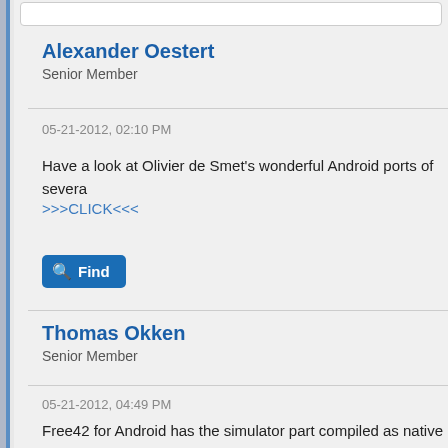Alexander Oestert
Senior Member
05-21-2012, 02:10 PM
Have a look at Olivier de Smet's wonderful Android ports of severa
>>>CLICK<<<
Find
Thomas Okken
Senior Member
05-21-2012, 04:49 PM
Free42 for Android has the simulator part compiled as native ARM interface and filesystem interaction are done in Java. I've never do but subjectively, it feels as fast on my HTC Aria as the iPhone vers native ARM.